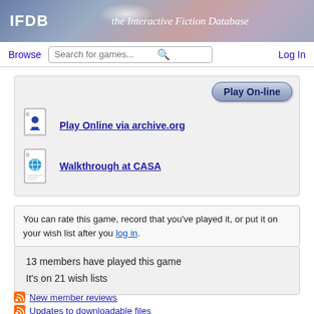IFDB — the Interactive Fiction Database
Browse | Search for games... | Log In
[Figure (screenshot): Play On-line button (rounded pill button with blue gradient)]
Play Online via archive.org
Walkthrough at CASA
You can rate this game, record that you've played it, or put it on your wish list after you log in.
13 members have played this game
It's on 21 wish lists
New member reviews
Updates to downloadable files